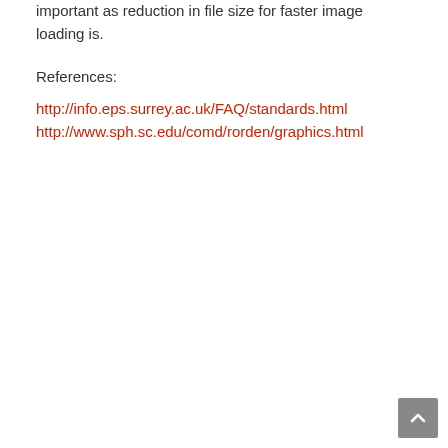important as reduction in file size for faster image loading is.
References:
http://info.eps.surrey.ac.uk/FAQ/standards.html
http://www.sph.sc.edu/comd/rorden/graphics.html